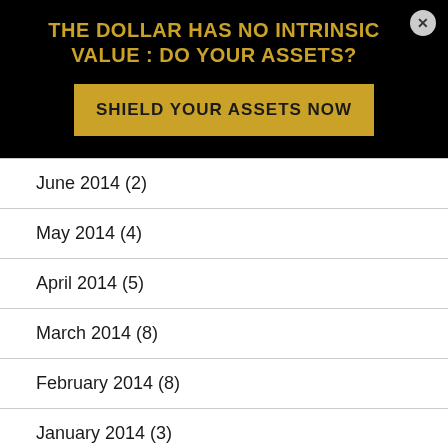THE DOLLAR HAS NO INTRINSIC VALUE : DO YOUR ASSETS?
SHIELD YOUR ASSETS NOW
June 2014 (2)
May 2014 (4)
April 2014 (5)
March 2014 (8)
February 2014 (8)
January 2014 (3)
December 2013 (4)
November 2013 (10)